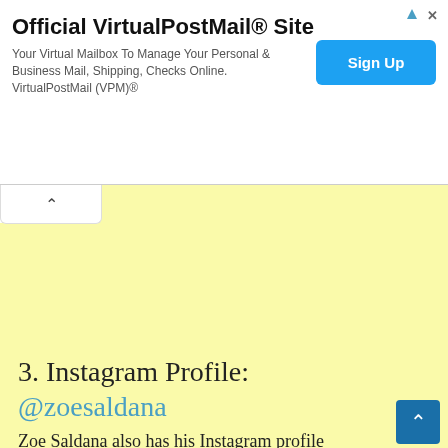[Figure (screenshot): Advertisement banner for Official VirtualPostMail® Site with Sign Up button]
[Figure (other): Yellow background ad placeholder area with collapse tab showing up arrow]
3. Instagram Profile: @zoesaldana
Zoe Saldana also has his Instagram profile